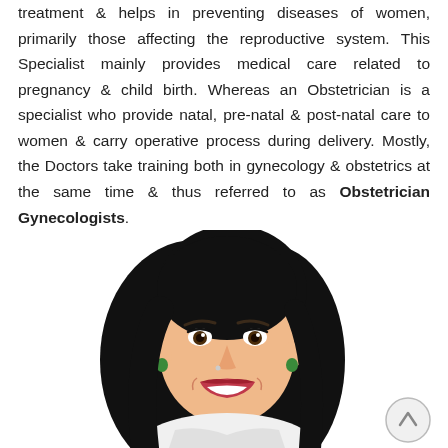treatment & helps in preventing diseases of women, primarily those affecting the reproductive system. This Specialist mainly provides medical care related to pregnancy & child birth. Whereas an Obstetrician is a specialist who provide natal, pre-natal & post-natal care to women & carry operative process during delivery. Mostly, the Doctors take training both in gynecology & obstetrics at the same time & thus referred to as Obstetrician Gynecologists.
[Figure (illustration): Cartoon vector illustration of a smiling woman with long black hair, wearing green earrings, with a white smile. She appears to be a medical professional. In the bottom right is a circular back-to-top button with a caret/chevron upward arrow.]